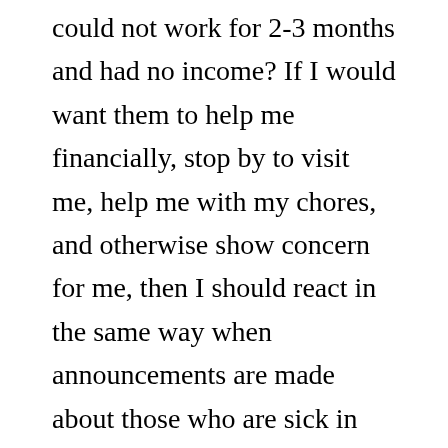could not work for 2-3 months and had no income? If I would want them to help me financially, stop by to visit me, help me with my chores, and otherwise show concern for me, then I should react in the same way when announcements are made about those who are sick in the congregation.
What would I want brethren to do for me if I lost a child or mate in death? Would I want to be ignored and neglected? Would I want someone coming to me when I was depressed